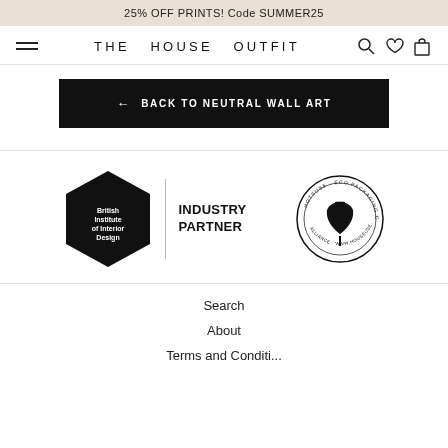25% OFF PRINTS! Code SUMMER25
THE HOUSE OUTFIT
← BACK TO NEUTRAL WALL ART
[Figure (logo): British Institute of Interior Design logo (black hexagon with text) with INDUSTRY PARTNER text, and Eco Packaging Alliance circular badge]
Search
About
Terms and Conditions